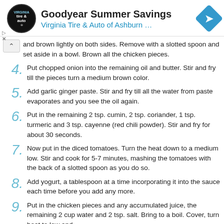[Figure (other): Goodyear/Virginia Tire & Auto advertisement banner with logo and navigation icon]
and brown lightly on both sides. Remove with a slotted spoon and set aside in a bowl. Brown all the chicken pieces.
4. Put chopped onion into the remaining oil and butter. Stir and fry till the pieces turn a medium brown color.
5. Add garlic ginger paste. Stir and fry till all the water from paste evaporates and you see the oil again.
6. Put in the remaining 2 tsp. cumin, 2 tsp. coriander, 1 tsp. turmeric and 3 tsp. cayenne (red chili powder). Stir and fry for about 30 seconds.
7. Now put in the diced tomatoes. Turn the heat down to a medium low. Stir and cook for 5-7 minutes, mashing the tomatoes with the back of a slotted spoon as you do so.
8. Add yogurt, a tablespoon at a time incorporating it into the sauce each time before you add any more.
9. Put in the chicken pieces and any accumulated juice, the remaining 2 cup water and 2 tsp. salt. Bring to a boil. Cover, turn heat to low and